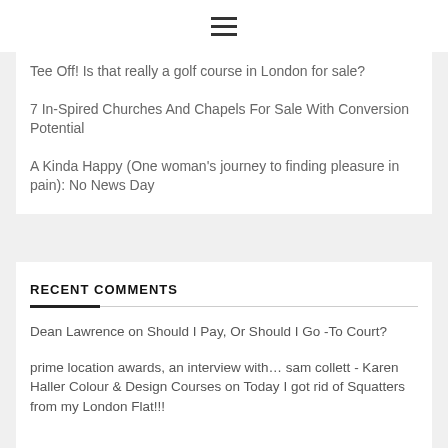☰ (hamburger menu icon)
Tee Off! Is that really a golf course in London for sale?
7 In-Spired Churches And Chapels For Sale With Conversion Potential
A Kinda Happy (One woman's journey to finding pleasure in pain): No News Day
RECENT COMMENTS
Dean Lawrence on Should I Pay, Or Should I Go -To Court?
prime location awards, an interview with… sam collett - Karen Haller Colour & Design Courses on Today I got rid of Squatters from my London Flat!!!